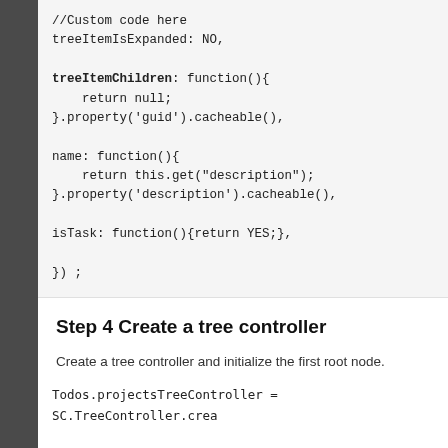//Custom code here
treeItemIsExpanded: NO,

treeItemChildren: function(){
    return null;
}.property('guid').cacheable(),

name: function(){
    return this.get("description");
}.property('description').cacheable(),

isTask: function(){return YES;},

}) ;
Step 4 Create a tree controller
Create a tree controller and initialize the first root node.
Todos.projectsTreeController = SC.TreeController.crea